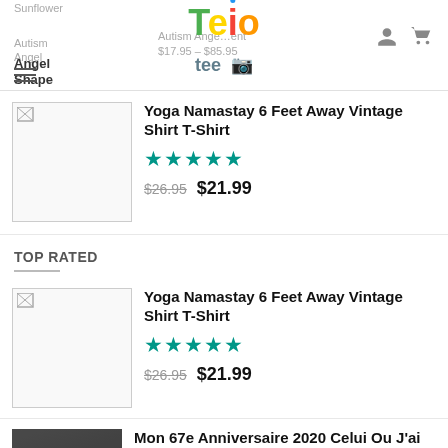[Figure (logo): Teio tee logo with colorful letters and t-shirt icon]
Sunflower
Autism Angel
$17.95 – $85.95
Autism Angel Shape
Yoga Namastay 6 Feet Away Vintage Shirt T-Shirt
★★★★★
$26.95  $21.99
TOP RATED
Yoga Namastay 6 Feet Away Vintage Shirt T-Shirt
★★★★★
$26.95  $21.99
Mon 67e Anniversaire 2020 Celui Ou J'ai Ete Mis En Quarantaine Shirt
★★★★★
$26.95  $21.99